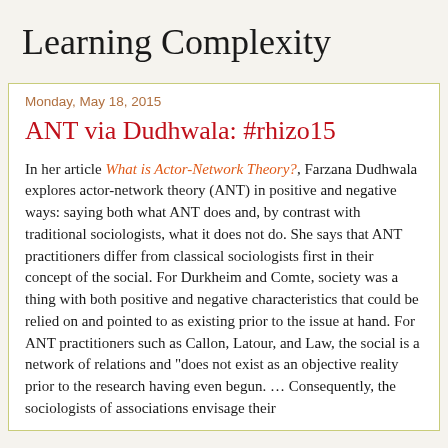Learning Complexity
Monday, May 18, 2015
ANT via Dudhwala: #rhizo15
In her article What is Actor-Network Theory?, Farzana Dudhwala explores actor-network theory (ANT) in positive and negative ways: saying both what ANT does and, by contrast with traditional sociologists, what it does not do. She says that ANT practitioners differ from classical sociologists first in their concept of the social. For Durkheim and Comte, society was a thing with both positive and negative characteristics that could be relied on and pointed to as existing prior to the issue at hand. For ANT practitioners such as Callon, Latour, and Law, the social is a network of relations and "does not exist as an objective reality prior to the research having even begun. … Consequently, the sociologists of associations envisage their